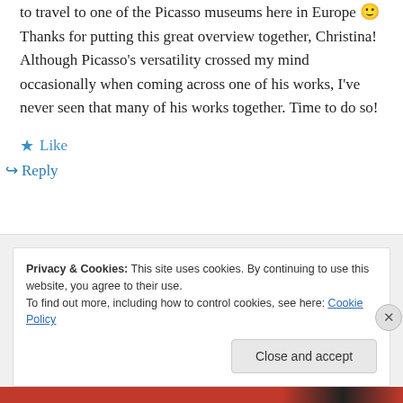to travel to one of the Picasso museums here in Europe 🙂 Thanks for putting this great overview together, Christina! Although Picasso's versatility crossed my mind occasionally when coming across one of his works, I've never seen that many of his works together. Time to do so!
★ Like
↪ Reply
Privacy & Cookies: This site uses cookies. By continuing to use this website, you agree to their use.
To find out more, including how to control cookies, see here: Cookie Policy
Close and accept